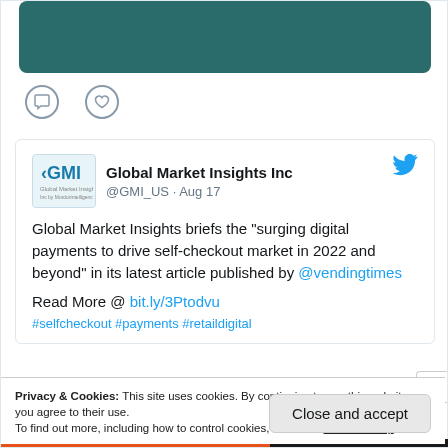[Figure (screenshot): Teal/dark green banner image at top of social media card]
[Figure (illustration): Comment bubble icon and heart/like icon row]
Global Market Insights Inc @GMI_US · Aug 17
Global Market Insights briefs the "surging digital payments to drive self-checkout market in 2022 and beyond" in its latest article published by @vendingtimes

Read More @ bit.ly/3Ptodvu
Privacy & Cookies: This site uses cookies. By continuing to use this website, you agree to their use.
To find out more, including how to control cookies, see here: Cookie Policy
Close and accept